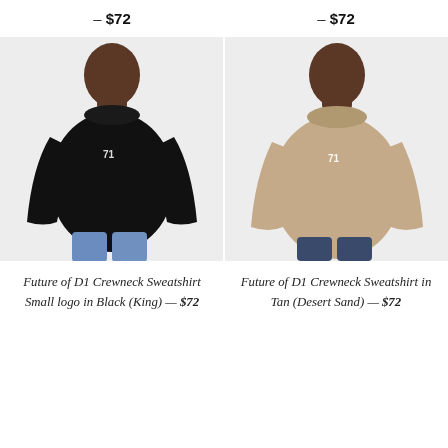— $72
— $72
[Figure (photo): Man wearing a black crewneck sweatshirt with small logo on chest, paired with blue jeans]
[Figure (photo): Man wearing a tan (desert sand) crewneck sweatshirt with small logo on chest, paired with dark jeans]
Future of D1 Crewneck Sweatshirt Small logo in Black (King) — $72
Future of D1 Crewneck Sweatshirt in Tan (Desert Sand) — $72